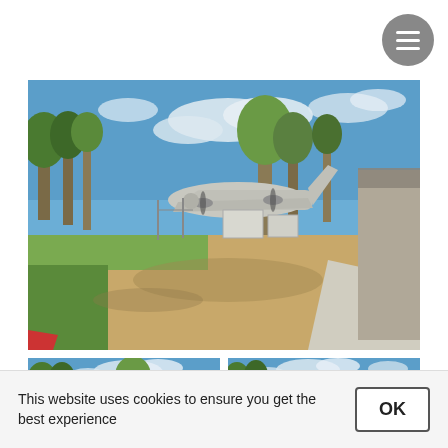[Figure (photo): Hamburger/menu button — dark grey circle with three white horizontal lines, top right corner of page]
[Figure (photo): Wide panoramic photo of an outdoor aviation museum display: a large propeller aircraft (likely a Boeing C-97 or similar) on sandy ground, surrounded by gum trees under a blue sky with white clouds; a concrete path and museum building visible on the right; sign boards near the aircraft]
[Figure (photo): Bottom-left thumbnail: same museum scene, aircraft visible in middle distance among trees, building on right; a circular up-arrow icon overlaid at lower left]
[Figure (photo): Bottom-right thumbnail: same museum scene, aircraft more prominent on sandy ground, sign boards visible, trees and buildings in background]
This website uses cookies to ensure you get the best experience
OK